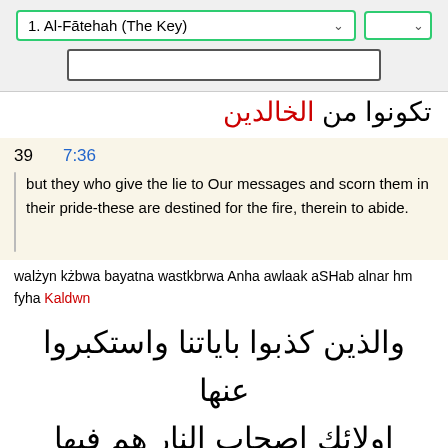1. Al-Fātehah (The Key)
تكونوا من الخالدين
39   7:36
but they who give the lie to Our messages and scorn them in their pride-these are destined for the fire, therein to abide.
walżyn kżbwa bayatna wastkbrwa Anha awlaak aSHab alnar hm fyha Kaldwn
والذين كذبوا باياتنا واستكبروا عنها
اولائك اصحاب النار هم فيها خالدون